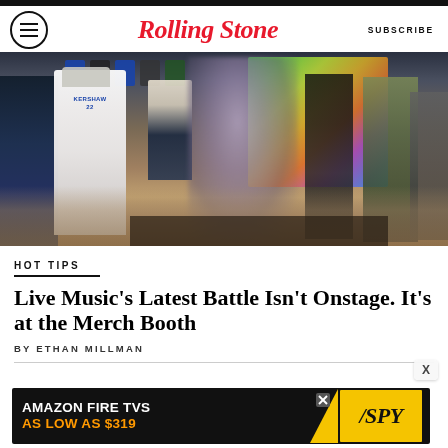Rolling Stone — SUBSCRIBE
[Figure (photo): Indoor scene at what appears to be a merchandise booth or sports bar. People browse merchandise and walk around. A man in a white Kershaw #22 Dodgers jersey is visible from behind. Sports jerseys hang on the wall in the background. A colorful LED display screen glows in the background. The floor has a decorative carpet pattern.]
HOT TIPS
Live Music's Latest Battle Isn't Onstage. It's at the Merch Booth
BY ETHAN MILLMAN
[Figure (infographic): Advertisement banner: AMAZON FIRE TVS AS LOW AS $319 with SPY logo on yellow background]